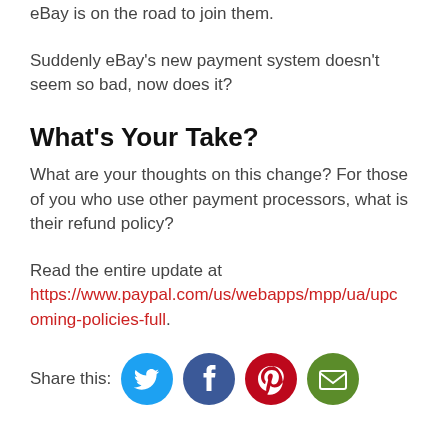Amazon, PayPal, Square, eBay all seem to mimic. eBay is on the road to join them.
Suddenly eBay’s new payment system doesn’t seem so bad, now does it?
What’s Your Take?
What are your thoughts on this change? For those of you who use other payment processors, what is their refund policy?
Read the entire update at https://www.paypal.com/us/webapps/mpp/ua/upcoming-policies-full.
Share this: